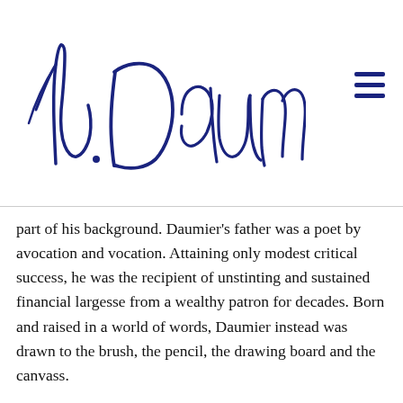[Figure (illustration): Cursive signature reading 'h. Daumier.' in dark navy blue ink on white background]
part of his background. Daumier's father was a poet by avocation and vocation. Attaining only modest critical success, he was the recipient of unstinting and sustained financial largesse from a wealthy patron for decades. Born and raised in a world of words, Daumier instead was drawn to the brush, the pencil, the drawing board and the canvass.
Daumier would be hard pressed to find his footing in today's world. For in additional to the challenge of outdoing living satire, there is the absence of ethical and aesthetic vantage points from which